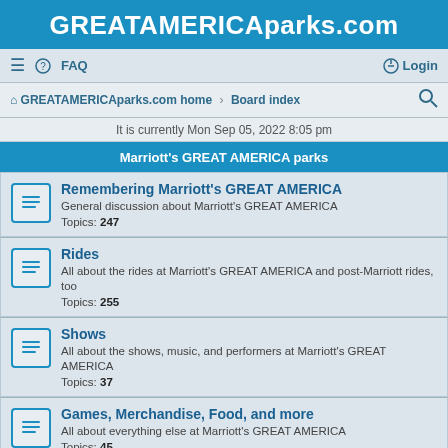GREATAMERICAparks.com
≡  FAQ    Login
GREATAMERICAparks.com home › Board index
It is currently Mon Sep 05, 2022 8:05 pm
Marriott's GREAT AMERICA parks
Remembering Marriott's GREAT AMERICA
General discussion about Marriott's GREAT AMERICA
Topics: 247
Rides
All about the rides at Marriott's GREAT AMERICA and post-Marriott rides, too
Topics: 255
Shows
All about the shows, music, and performers at Marriott's GREAT AMERICA
Topics: 37
Games, Merchandise, Food, and more
All about everything else at Marriott's GREAT AMERICA
Topics: 45
the GREAT AMERICA parks today
all new discussions of the parks today -- California's Great America and Six Flags Great America -- should go here
Topics: 35